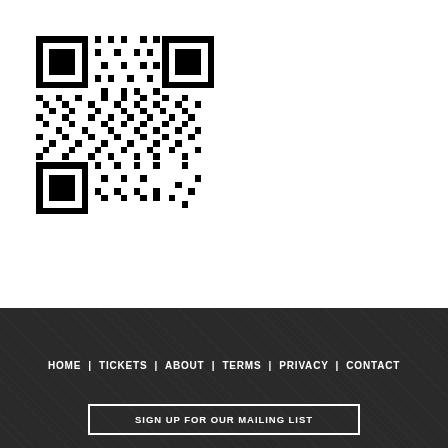[Figure (other): QR code image in black and white, positioned in upper left area of the page]
HOME | TICKETS | ABOUT | TERMS | PRIVACY | CONTACT
SIGN UP FOR OUR MAILING LIST